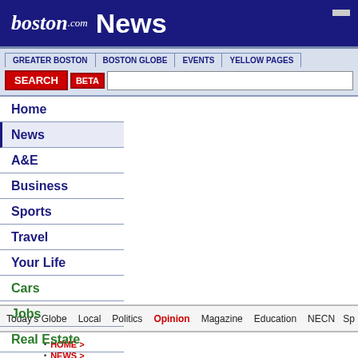boston.com News
GREATER BOSTON
BOSTON GLOBE
EVENTS
YELLOW PAGES
SEARCH BETA [search input]
Home
News
A&E
Business
Sports
Travel
Your Life
Cars
Jobs
Real Estate
Yellow Pages
Today's Globe | Local | Politics | Opinion | Magazine | Education | NECN | Spe
HOME >
NEWS >
BOSTON GLOBE >
OPINION >